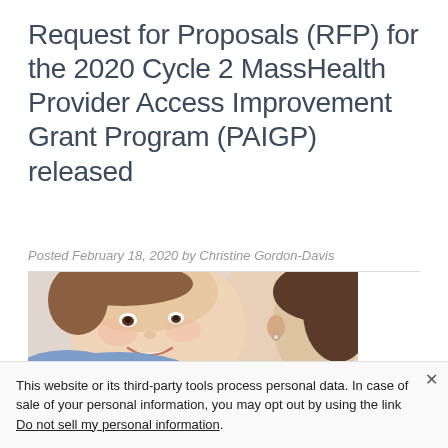Request for Proposals (RFP) for the 2020 Cycle 2 MassHealth Provider Access Improvement Grant Program (PAIGP) released
Posted February 18, 2020 by Christine Gordon-Davis
[Figure (photo): A smiling young child in a blue polka-dot shirt looking at an adult woman, photographed in soft indoor lighting.]
This website or its third-party tools process personal data. In case of sale of your personal information, you may opt out by using the link Do not sell my personal information.